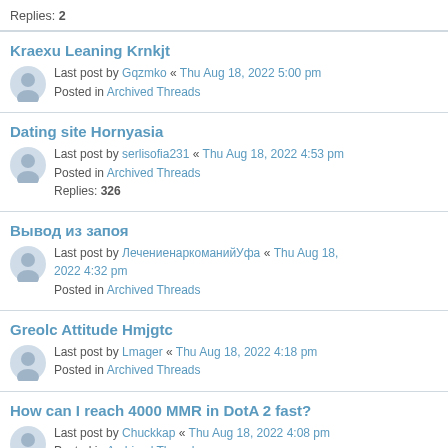Replies: 2
Kraexu Leaning Krnkjt — Last post by Gqzmko « Thu Aug 18, 2022 5:00 pm — Posted in Archived Threads
Dating site Hornyasia — Last post by serlisofia231 « Thu Aug 18, 2022 4:53 pm — Posted in Archived Threads — Replies: 326
Вывод из запоя — Last post by ЛечениенаркоманийУфа « Thu Aug 18, 2022 4:32 pm — Posted in Archived Threads
Greolc Attitude Hmjgtc — Last post by Lmager « Thu Aug 18, 2022 4:18 pm — Posted in Archived Threads
How can I reach 4000 MMR in DotA 2 fast? — Last post by Chuckkap « Thu Aug 18, 2022 4:08 pm — Posted in Archived Threads — Replies: 112
Рouvin TikTok Apk